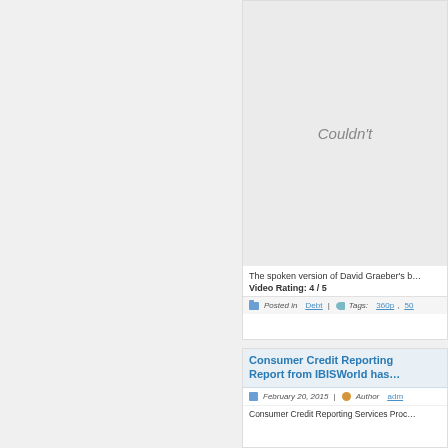[Figure (other): Video embed placeholder showing 'Couldn't' (truncated) message on light gray background]
The spoken version of David Graeber's b…
Video Rating: 4 / 5
Posted in Debt | Tags: 360p, 50…
Consumer Credit Reporting Report from IBISWorld has…
February 20, 2015 | Author adm…
Consumer Credit Reporting Services Proc…